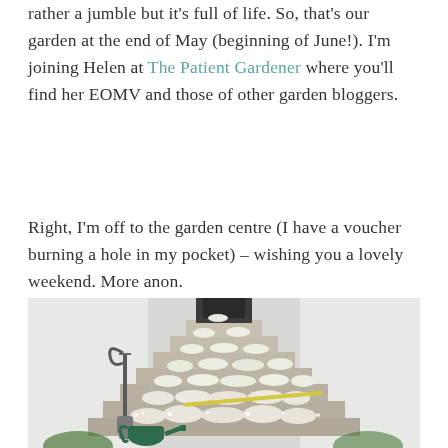rather a jumble but it's full of life. So, that's our garden at the end of May (beginning of June!). I'm joining Helen at The Patient Gardener where you'll find her EOMV and those of other garden bloggers.
Right, I'm off to the garden centre (I have a voucher burning a hole in my pocket) – wishing you a lovely weekend. More anon.
[Figure (photo): Garden steps covered in small white flowers (possibly saxifrage or similar), with a green watering can and a shovel leaning against the steps. The steps are stone/brick and lead up to a white-walled building.]